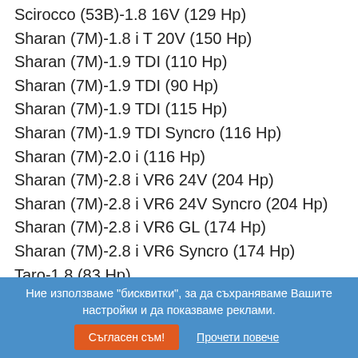Scirocco (53B)-1.8 16V (129 Hp)
Sharan (7M)-1.8 i T 20V (150 Hp)
Sharan (7M)-1.9 TDI (110 Hp)
Sharan (7M)-1.9 TDI (90 Hp)
Sharan (7M)-1.9 TDI (115 Hp)
Sharan (7M)-1.9 TDI Syncro (116 Hp)
Sharan (7M)-2.0 i (116 Hp)
Sharan (7M)-2.8 i VR6 24V (204 Hp)
Sharan (7M)-2.8 i VR6 24V Syncro (204 Hp)
Sharan (7M)-2.8 i VR6 GL (174 Hp)
Sharan (7M)-2.8 i VR6 Syncro (174 Hp)
Taro-1.8 (83 Hp)
Taro-2.2 (94 Hp)
Taro-2.4 D (80 Hp)
Taro-2.4 D (79 Hp)
Taro-2.4 D (83 Hp)
Taro-2.4 D 4x4 (79 Hp)
Taro-2.4 i 4x4 (114 Hp)
Touareg 7L-2.5 R5 TDI (174 Hp)
Touareg 7L-3.2 i V6 (220 Hp)
Ние използваме "бисквитки", за да съхраняваме Вашите настройки и да показваме реклами.
Съгласен съм!  Прочети повече